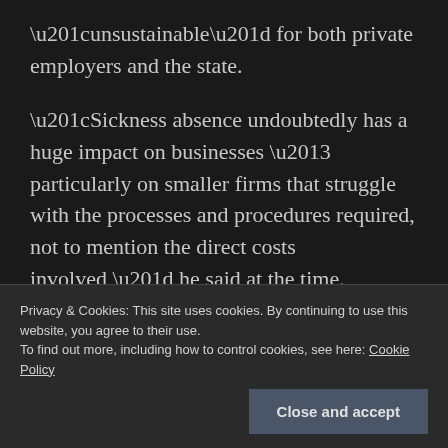“unsustainable” for both private employers and the state.
“Sickness absence undoubtedly has a huge impact on businesses – particularly on smaller firms that struggle with the processes and procedures required, not to mention the direct costs involved,” he said at the time.
Privacy & Cookies: This site uses cookies. By continuing to use this website, you agree to their use.
To find out more, including how to control cookies, see here: Cookie Policy
Close and accept